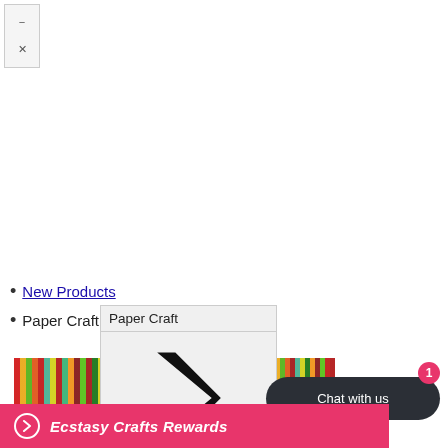[Figure (other): Small widget box with minus and X icons in top-left corner]
New Products
Paper Craft
[Figure (other): Dropdown popup showing Paper Craft with a right chevron arrow icon, with colorful textured strips on left and right sides]
Mixed Media
Chat with us
Ecstasy Crafts Rewards